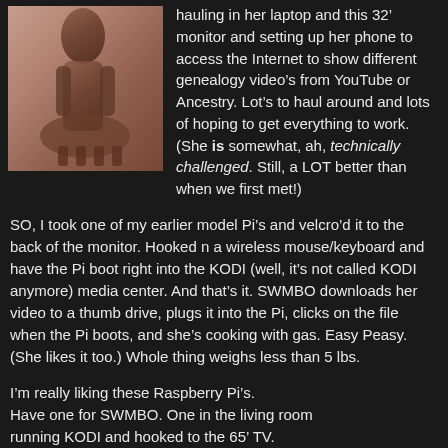[Figure (photo): A vintage-looking photo of a person on horseback, brownish-red tones, partial view]
hauling in her laptop and this 32â€ monitor and setting up her phone to access the Internet to show different genealogy videoâ€™s from YouTube or Ancestry. Lotâ€™s to haul around and lots of hoping to get everything to work. (She is somewhat, ah, technically challenged. Still, a LOT better than when we first met!)
SO, I took one of my earlier model Piâ€™s and velcroâ€™d it to the back of the monitor. Hooked n a wireless mouse/keyboard and have the Pi boot right into the KODI (well, itâ€™s not called KODI anymore) media center. And thatâ€™s it. SWMBO downloads her video to a thumb drive, plugs it into the Pi, clicks on the file when the Pi boots, and sheâ€™s cooking with gas. Easy Peasy. (She likes it too.) Whole thing weighs less than 5 lbs.
Iâ€™m really liking these Raspberry Piâ€™s. Have one for SWMBO. One in the living room running KODI and hooked to the 65â€ TV. Setting up one to be a Print Server (works great!)